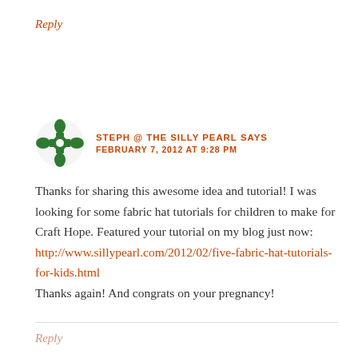Reply
STEPH @ THE SILLY PEARL SAYS
FEBRUARY 7, 2012 AT 9:28 PM
Thanks for sharing this awesome idea and tutorial! I was looking for some fabric hat tutorials for children to make for Craft Hope. Featured your tutorial on my blog just now: http://www.sillypearl.com/2012/02/five-fabric-hat-tutorials-for-kids.html
Thanks again! And congrats on your pregnancy!
Reply